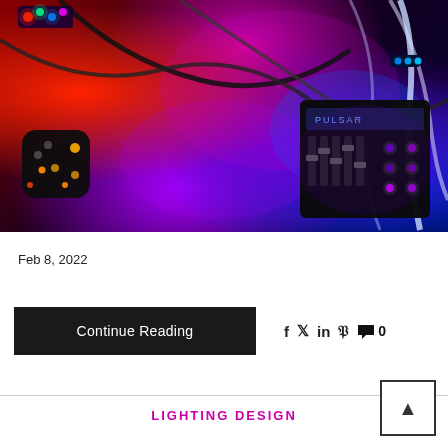[Figure (photo): Close-up photo of colorful LED lights, a game controller, cables, and an electronic mixing/control device (labeled PULSAR) on a dark surface with vivid red, purple, and blue lighting.]
Feb 8, 2022
Continue Reading
0
LIGHTING DESIGN